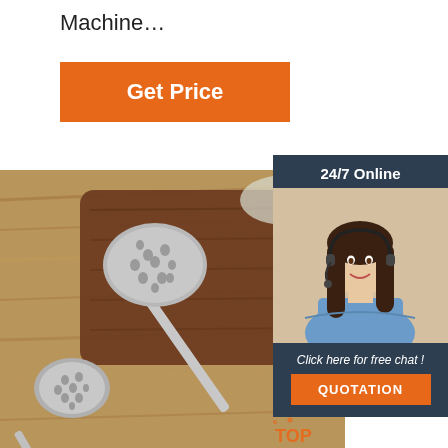Machine…
[Figure (other): Orange 'Get Price' button]
[Figure (photo): Two stainless steel slotted spoons/ladles on a wooden cutting board on a wooden surface]
[Figure (infographic): Dark sidebar with '24/7 Online' text, photo of female customer service representative with headset, 'Click here for free chat!' text, and orange QUOTATION button]
[Figure (logo): TOP logo with orange dots in bottom right of main photo]